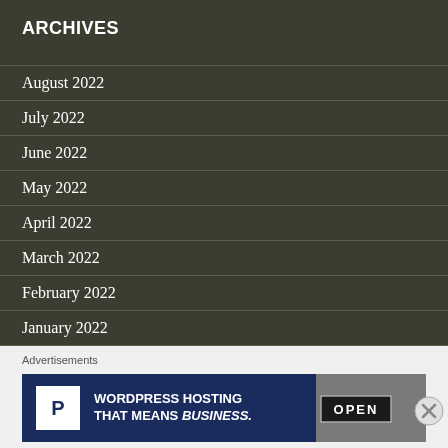ARCHIVES
August 2022
July 2022
June 2022
May 2022
April 2022
March 2022
February 2022
January 2022
December 2021
Advertisements
[Figure (infographic): WordPress Hosting advertisement banner reading 'WORDPRESS HOSTING THAT MEANS BUSINESS.' with a P logo icon and an OPEN sign image]